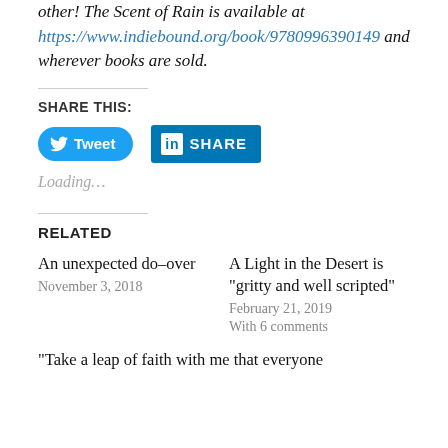other! The Scent of Rain is available at https://www.indiebound.org/book/9780996390149 and wherever books are sold.
SHARE THIS:
[Figure (other): Tweet and LinkedIn Share buttons]
Loading...
RELATED
An unexpected do-over
November 3, 2018
A Light in the Desert is “gritty and well scripted”
February 21, 2019
With 6 comments
“Take a leap of faith with me that everyone